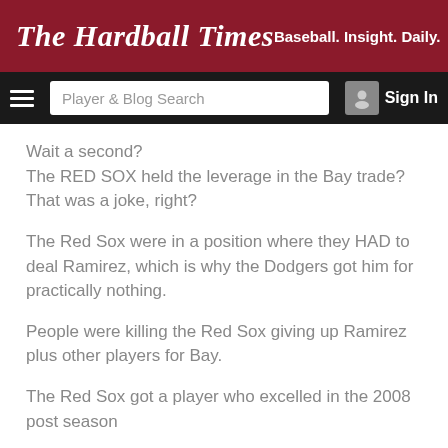The Hardball Times — Baseball. Insight. Daily.
Wait a second?
The RED SOX held the leverage in the Bay trade?
That was a joke, right?
The Red Sox were in a position where they HAD to deal Ramirez, which is why the Dodgers got him for practically nothing.
People were killing the Red Sox giving up Ramirez plus other players for Bay.
The Red Sox got a player who excelled in the 2008 post season